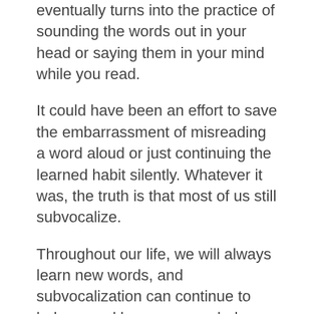eventually turns into the practice of sounding the words out in your head or saying them in your mind while you read.
It could have been an effort to save the embarrassment of misreading a word aloud or just continuing the learned habit silently. Whatever it was, the truth is that most of us still subvocalize.
Throughout our life, we will always learn new words, and subvocalization can continue to help us and keep our vocabulary growing.
Another benefit of saying the words in your mind while you read is that it can help with memorization.